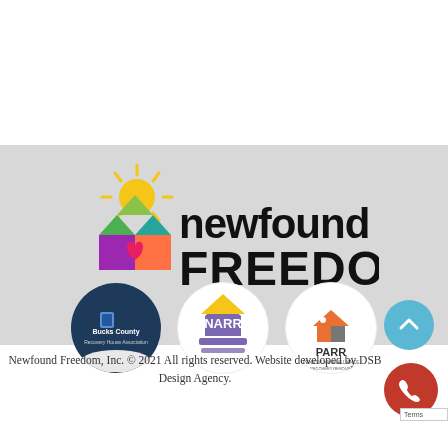[Figure (logo): Newfound Freedom logo with colorful house icon and sun, text 'newfound FREEDOM' in black bold font]
[Figure (logo): Three circular partner logos: Bucks County Recovery House Association (dark blue circle), NARR National Alliance for Recovery Residences (white circle with purple/yellow), PARR Pennsylvania Alliance of Recovery Resources (white circle with orange/gray)]
Newfound Freedom, Inc. © 2021 All rights reserved. Website developed by DSB Design Agency.